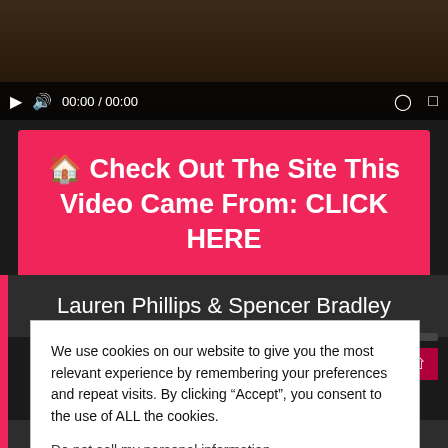[Figure (screenshot): Video player controls bar with play button, volume icon, timestamp 00:00 / 00:00, clock icon, and fullscreen icon on dark background]
🏠 Check Out The Site This Video Came From: CLICK HERE
Lauren Phillips & Spencer Bradley
We use cookies on our website to give you the most relevant experience by remembering your preferences and repeat visits. By clicking “Accept”, you consent to the use of ALL the cookies.
Do not sell my personal information.
Cookie settings   ACCEPT
Spencer Bradley is the rebellious stepdaughter who is